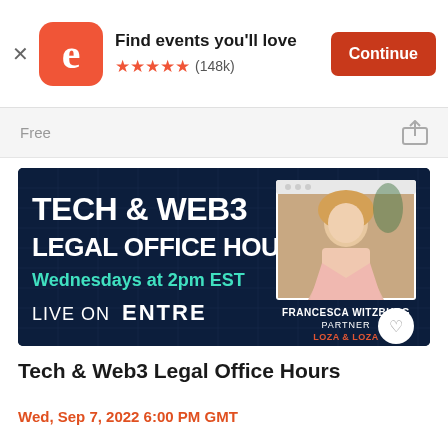[Figure (screenshot): Eventbrite app banner: orange rounded-square logo with white 'e', text 'Find events you’ll love', five orange stars, (148k) reviews, orange Continue button, X close button]
Free
[Figure (photo): Dark navy blue event promo banner for Tech & Web3 Legal Office Hours. Left side has bold white text 'TECH & WEB3 LEGAL OFFICE HOURS', teal text 'Wednesdays at 2pm EST', white text 'LIVE ON ENTRE'. Right side shows a Polaroid-style photo of Francesca Witzburg (blonde woman in pink blazer seated), with text 'FRANCESCA WITZBURG', 'PARTNER', 'LOZA & LOZA' in red. A heart/favorite button in a white circle at bottom-right corner.]
Tech & Web3 Legal Office Hours
Wed, Sep 7, 2022 6:00 PM GMT